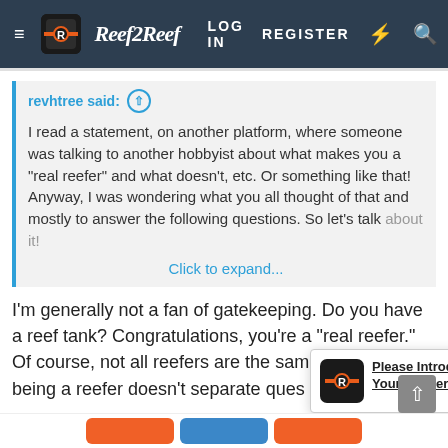Reef2Reef — LOG IN  REGISTER
revhtree said: ↑

I read a statement, on another platform, where someone was talking to another hobbyist about what makes you a "real reefer" and what doesn't, etc. Or something like that! Anyway, I was wondering what you all thought of that and mostly to answer the following questions. So let's talk about it!

Click to expand...
I'm generally not a fan of gatekeeping. Do you have a reef tank? Congratulations, you're a "real reefer." Of course, not all reefers are the same, and simply being a reefer doesn't... separate ques... not.
[Figure (screenshot): Popup notification: logo icon on left, bold underlined text 'Please Introduce Yourself Here!' on right with close X button, and a scroll-up arrow button]